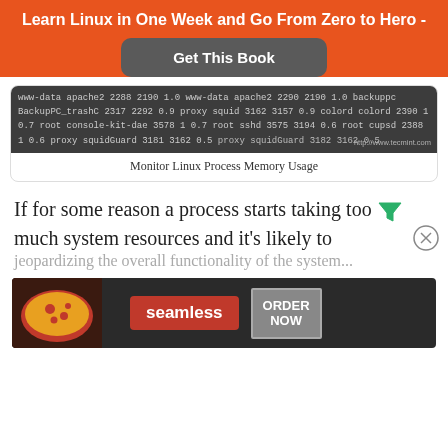Learn Linux in One Week and Go From Zero to Hero -
[Figure (screenshot): Button: Get This Book on orange background]
[Figure (screenshot): Terminal output showing Linux process memory usage table with columns for user, process name, PID, PPID, and memory percentage. Rows include www-data apache2 2288 2190 1.0, www-data apache2 2290 2190 1.0, backuppc BackupPC_trashC 2317 2292 0.9, proxy squid 3162 3157 0.9, colord colord 2390 1 0.7, root console-kit-dae 3578 1 0.7, root sshd 3575 3194 0.6, root cupsd 2388 1 0.6, proxy squidGuard 3181 3162 0.5, proxy squidGuard 3182 3162 0.5. Watermark: http://www.tecmint.com]
Monitor Linux Process Memory Usage
If for some reason a process starts taking too much system resources and it's likely to jeopardizing the overall functionality of the system...
[Figure (photo): Seamless food delivery advertisement with pizza photo, Seamless logo, and ORDER NOW button]